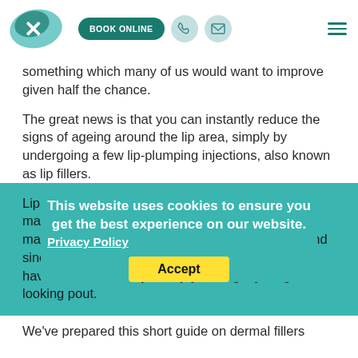[Figure (logo): Website logo with teal/green brushstroke background and white bird/cross shape]
something which many of us would want to improve given half the chance.
The great news is that you can instantly reduce the signs of ageing around the lip area, simply by undergoing a few lip-plumping injections, also known as lip fillers.
Lip fillers are very commonplace these days, with many celebrities opting to plump up their lips to maintain a glamorous and youthful appearance. And since the treatment isn't too expensive, you don't have to be a celebrity to enjoy having a younger looking pout.
This website uses cookies to ensure you get the best experience on our website. Privacy Policy Accept
We've prepared this short guide on dermal fillers